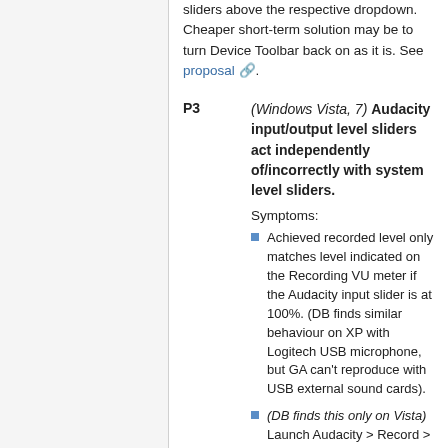sliders above the respective dropdown. Cheaper short-term solution may be to turn Device Toolbar back on as it is. See proposal.
P3
(Windows Vista, 7) Audacity input/output level sliders act independently of/incorrectly with system level sliders.
Symptoms:
Achieved recorded level only matches level indicated on the Recording VU meter if the Audacity input slider is at 100%. (DB finds similar behaviour on XP with Logitech USB microphone, but GA can't reproduce with USB external sound cards).
(DB finds this only on Vista) Launch Audacity > Record > Stop > adjust the system input